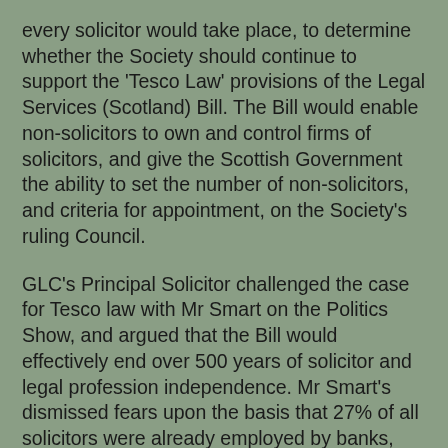every solicitor would take place, to determine whether the Society should continue to support the 'Tesco Law' provisions of the Legal Services (Scotland) Bill. The Bill would enable non-solicitors to own and control firms of solicitors, and give the Scottish Government the ability to set the number of non-solicitors, and criteria for appointment, on the Society's ruling Council.
GLC's Principal Solicitor challenged the case for Tesco law with Mr Smart on the Politics Show, and argued that the Bill would effectively end over 500 years of solicitor and legal profession independence. Mr Smart's dismissed fears upon the basis that 27% of all solicitors were already employed by banks, companies, and local authorities, and insisted that 'no one would suggest these solicitors were not independent'.
However, GLC's position is that the 27% of solicitors who are already employed by businesses or councils, do not provide advice to the public. They are in-house lawyers providing a specialist service to one client only, the entity that employs them, and therefore, this defence misses the point. The concern is that if the Bill is passed vested corporate interests